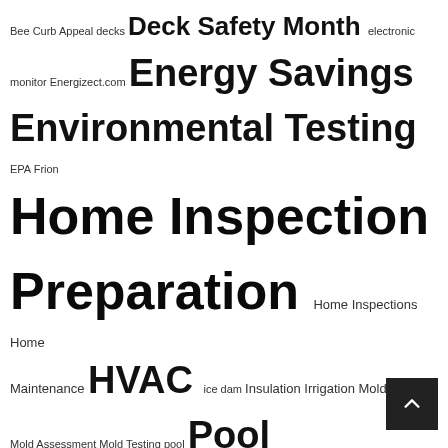[Figure (infographic): Tag cloud featuring home inspection and real estate related terms in varying font sizes indicating frequency/importance. Terms include: Bee, Curb Appeal, decks, Deck Safety Month, electronic, monitor, Energizect.com, Energy Savings, Environmental Testing, EPA, Frion, Home Inspection, Preparation, Home Inspections, Home Maintenance, HVAC, ice dam, Insulation, Irrigation, Mold, Mold Assessment, Mold Testing, pool, Pool Inspections, Pre-sale Inspection, Radon, radon testing, Seller Preparation, Inspection, Septic, snow, Snow covered roof, Snow melt, Solar, Tree Service, Vermiculite, Warm Weather Inspections, Water Penetration, Wet]